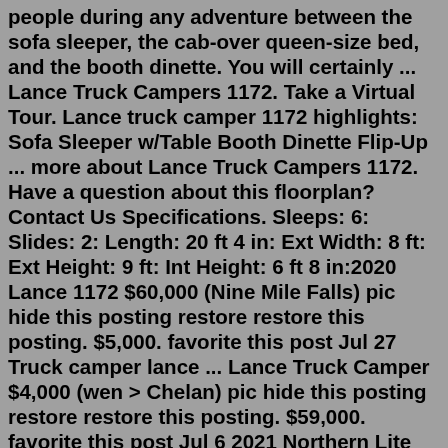people during any adventure between the sofa sleeper, the cab-over queen-size bed, and the booth dinette. You will certainly ... Lance Truck Campers 1172. Take a Virtual Tour. Lance truck camper 1172 highlights: Sofa Sleeper w/Table Booth Dinette Flip-Up ... more about Lance Truck Campers 1172. Have a question about this floorplan? Contact Us Specifications. Sleeps: 6: Slides: 2: Length: 20 ft 4 in: Ext Width: 8 ft: Ext Height: 9 ft: Int Height: 6 ft 8 in:2020 Lance 1172 $60,000 (Nine Mile Falls) pic hide this posting restore restore this posting. $5,000. favorite this post Jul 27 Truck camper lance ... Lance Truck Camper $4,000 (wen > Chelan) pic hide this posting restore restore this posting. $59,000. favorite this post Jul 6 2021 Northern Lite 10-2Click on the video and watch me take you on a tour of Lance's 2021 Lance 1172! The largest Truck Camper, can't wait for y'all to see these major changes!Lance truck camper 1172 highlights: Sofa Sleeper w/Table; Booth Dinette; Flip-Up Counter Extension; Full Dry Bath; Two Slides This luxurious Lance truck camper is the most